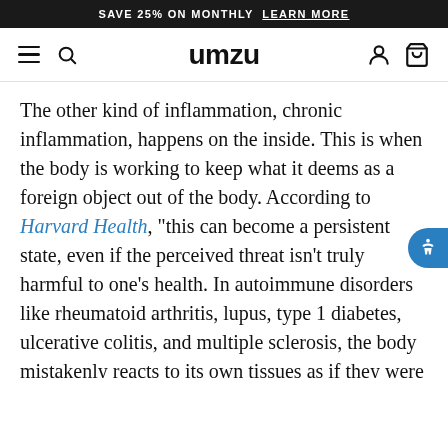SAVE 25% ON MONTHLY  LEARN MORE
umzu
The other kind of inflammation, chronic inflammation, happens on the inside. This is when the body is working to keep what it deems as a foreign object out of the body. According to Harvard Health, “this can become a persistent state, even if the perceived threat isn't truly harmful to one's health. In autoimmune disorders like rheumatoid arthritis, lupus, type 1 diabetes, ulcerative colitis, and multiple sclerosis, the body mistakenly reacts to its own tissues as if they were foreign, and produces damaging inflammation against them.” Papain has also been shown to treat inflammation. A study published in Nutrition Review found that papain may have anti-inflammatory